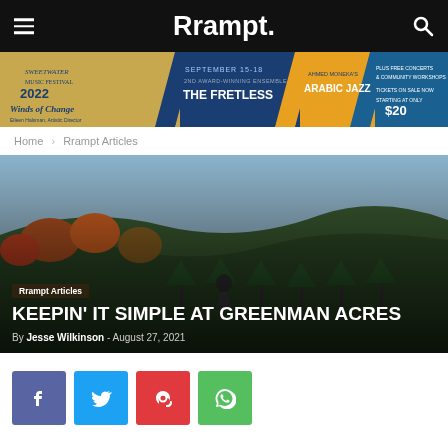Rrampt.
[Figure (infographic): Sweetwater Music Festival 2022 — Winds of Change banner advertisement. September 15-18. Features: The Fretless (2nd award-winning ensemble), Ahmed Moneka's Arabic Jazz, Brahms, Prokofiev, Schumann & more. Plus free concerts & community workshops. Tickets on sale now starting at only $20.]
Home › Rrampt Articles
[Figure (photo): Aerial/wide photo of a person walking through a farm or orchard with evergreen trees in rows, autumn foliage and rolling hills in the background.]
Rrampt Articles
KEEPIN' IT SIMPLE AT GREENMAN ACRES
By Jesse Wilkinson - August 27, 2021
Facebook share button
Twitter share button
Pinterest share button
WhatsApp share button